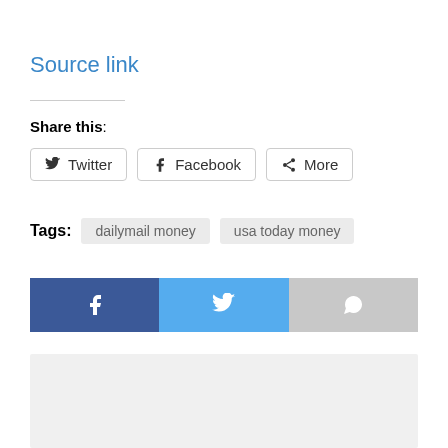Source link
Share this:
Twitter  Facebook  More
Tags:  dailymail money  usa today money
[Figure (other): Social share buttons bar: Facebook (dark blue), Twitter (light blue), More/share (gray)]
[Figure (other): Gray placeholder box (advertisement or embed area)]